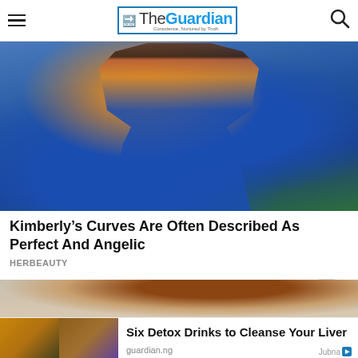The Guardian — Conscience, Nurtured by Truth
[Figure (photo): A woman with long dark hair wearing a blue and orange/gold African print jumpsuit with a cutout front, posing outdoors with blurred green background]
Kimberly’s Curves Are Often Described As Perfect And Angelic
HERBEAUTY
[Figure (photo): Partial view of a person with reddish-brown hair against a light background]
[Figure (photo): Four-panel collage of detox drinks: herbal teas and lemon-based drinks in cups and mugs with fresh herbs]
Six Detox Drinks to Cleanse Your Liver
guardian.ng